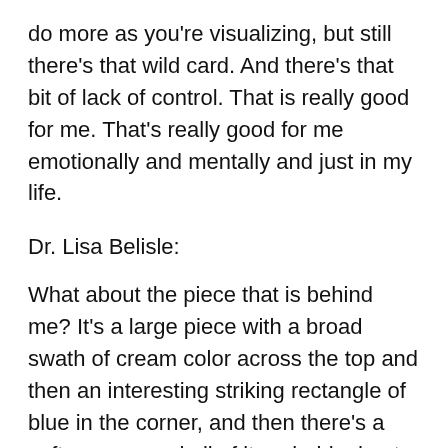do more as you're visualizing, but still there's that wild card. And there's that bit of lack of control. That is really good for me. That's really good for me emotionally and mentally and just in my life.
Dr. Lisa Belisle:
What about the piece that is behind me? It's a large piece with a broad swath of cream color across the top and then an interesting striking rectangle of blue in the corner, and then there's a softness around all of it probably due to the encaustic that you're describing.  Tell me about this piece.
Helen Lewis: